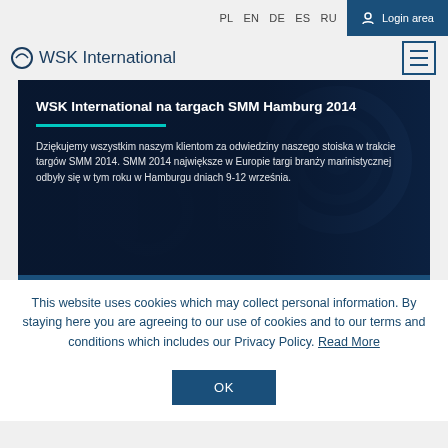PL EN DE ES RU  Login area
WSK International
[Figure (screenshot): WSK International website hero image showing machinery in dark blue background with article title and text in Polish about SMM Hamburg 2014 trade fair]
WSK International na targach SMM Hamburg 2014
Dziękujemy wszystkim naszym klientom za odwiedziny naszego stoiska w trakcie targów SMM 2014. SMM 2014 największe w Europie targi branży marinistycznej odbyły się w tym roku w Hamburgu dniach 9-12 września.
This website uses cookies which may collect personal information. By staying here you are agreeing to our use of cookies and to our terms and conditions which includes our Privacy Policy. Read More
OK